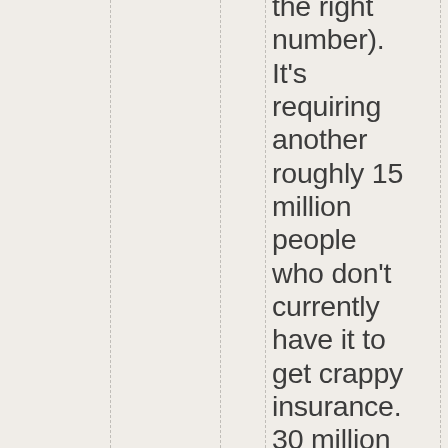the right number). It's requiring another roughly 15 million people who don't currently have it to get crappy insurance. 30 million people total is a lot less